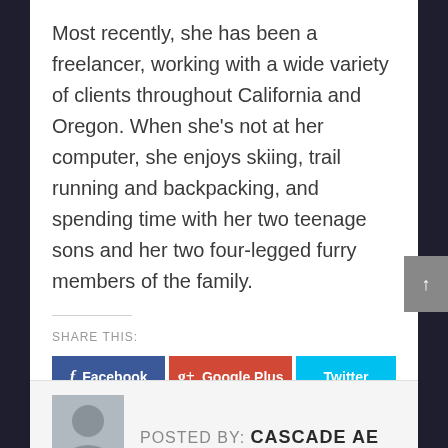Most recently, she has been a freelancer, working with a wide variety of clients throughout California and Oregon. When she's not at her computer, she enjoys skiing, trail running and backpacking, and spending time with her two teenage sons and her two four-legged furry members of the family.
SHARE THIS:
[Figure (screenshot): Social share buttons: Facebook (blue), Google Plus (red-orange), Twitter (cyan), Pinterest (red), LinkedIn (blue), Email (green)]
POSTED BY: CASCADE AE
[Figure (illustration): Generic user avatar placeholder icon in grey square]